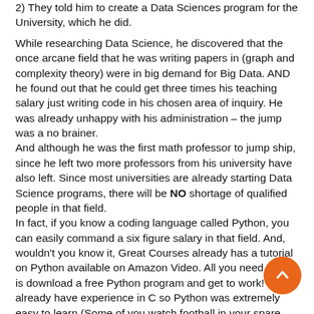2) They told him to create a Data Sciences program for the University, which he did.
While researching Data Science, he discovered that the once arcane field that he was writing papers in (graph and complexity theory) were in big demand for Big Data. AND he found out that he could get three times his teaching salary just writing code in his chosen area of inquiry. He was already unhappy with his administration – the jump was a no brainer.
And although he was the first math professor to jump ship, since he left two more professors from his university have also left. Since most universities are already starting Data Science programs, there will be NO shortage of qualified people in that field.
In fact, if you know a coding language called Python, you can easily command a six figure salary in that field. And, wouldn't you know it, Great Courses already has a tutorial on Python available on Amazon Video. All you need to do is download a free Python program and get to work! I already have experience in C so Python was extremely easy to learn (Some of you watch football in your spare time – I teach myself things. For all you math geeks, it was much easier than learning LaTeX.).
Whether or not you like Big Data, sorry, but it is here and it isn't going away. You can jawbone all you want about how